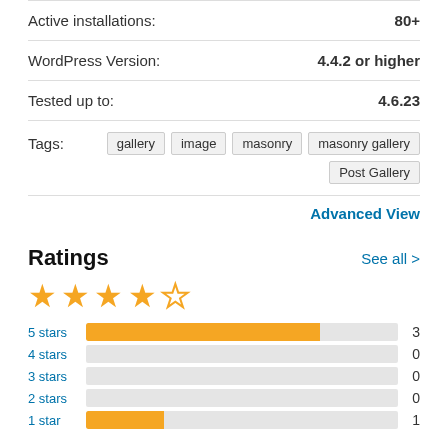Active installations: 80+
WordPress Version: 4.4.2 or higher
Tested up to: 4.6.23
Tags: gallery  image  masonry  masonry gallery  Post Gallery
Advanced View
Ratings
[Figure (bar-chart): Ratings breakdown]